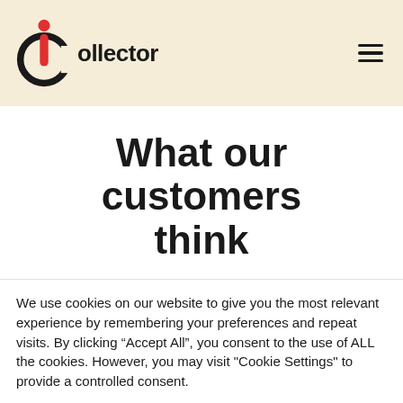iCollector
What our customers think
We use cookies on our website to give you the most relevant experience by remembering your preferences and repeat visits. By clicking “Accept All”, you consent to the use of ALL the cookies. However, you may visit "Cookie Settings" to provide a controlled consent.